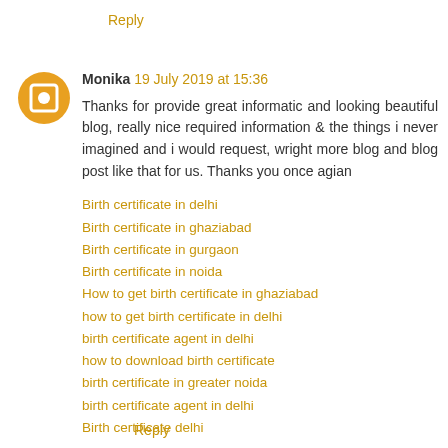Reply
Monika 19 July 2019 at 15:36
Thanks for provide great informatic and looking beautiful blog, really nice required information & the things i never imagined and i would request, wright more blog and blog post like that for us. Thanks you once agian
Birth certificate in delhi
Birth certificate in ghaziabad
Birth certificate in gurgaon
Birth certificate in noida
How to get birth certificate in ghaziabad
how to get birth certificate in delhi
birth certificate agent in delhi
how to download birth certificate
birth certificate in greater noida
birth certificate agent in delhi
Birth certificate delhi
Reply